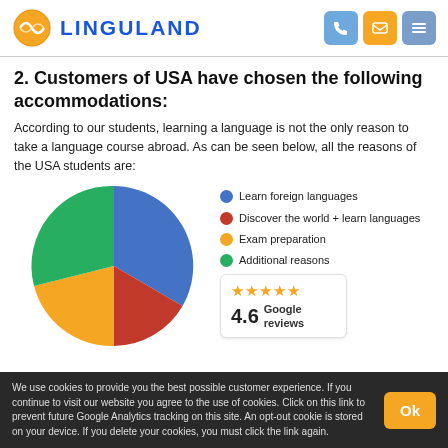LINGULAND
2. Customers of USA have chosen the following accommodations:
According to our students, learning a language is not the only reason to take a language course abroad. As can be seen below, all the reasons of the USA students are:
[Figure (pie-chart): Reasons of USA students]
4.6 Google reviews ★★★★★
We use cookies to provide you the best possible customer experience. If you continue to visit our website you agree to the use of cookies. Click on this link to prevent future Google Analytics tracking on this site. An opt-out cookie is stored on your device. If you delete your cookies, you must click the link again.